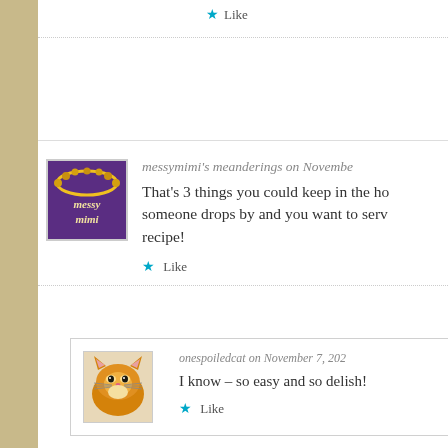Like
messymimi's meanderings on November
That's 3 things you could keep in the ho someone drops by and you want to serv recipe!
Like
onespoiledcat on November 7, 202
I know – so easy and so delish!
Like